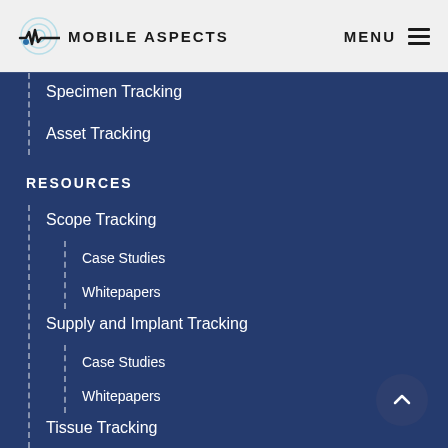Mobile Aspects | MENU
Specimen Tracking
Asset Tracking
RESOURCES
Scope Tracking
Case Studies
Whitepapers
Supply and Implant Tracking
Case Studies
Whitepapers
Tissue Tracking
Case Studies
Whitepapers